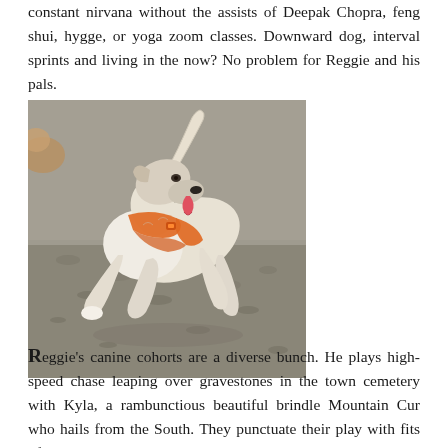constant nirvana without the assists of Deepak Chopra, feng shui, hygge, or yoga zoom classes. Downward dog, interval sprints and living in the now? No problem for Reggie and his pals.
[Figure (photo): A light-colored dog wearing an orange harness, running or leaping on a gravelly surface. The dog appears to be a lean breed, mid-stride with tail raised.]
Reggie's canine cohorts are a diverse bunch. He plays high-speed chase leaping over gravestones in the town cemetery with Kyla, a rambunctious beautiful brindle Mountain Cur who hails from the South. They punctuate their play with fits of good-natured body